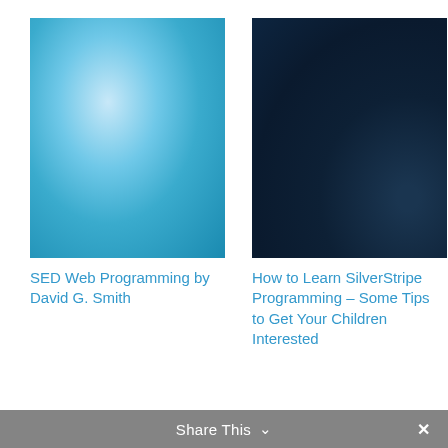[Figure (photo): Light blue abstract bokeh background with soft white light orbs]
SED Web Programming by David G. Smith
[Figure (photo): Dark navy blue abstract background with subtle light reflections]
How to Learn SilverStripe Programming – Some Tips to Get Your Children Interested
[Figure (photo): Abstract dark background with orange-red gradient in lower left corner]
[Figure (photo): Close-up photo of golden straw or hay texture]
Share This